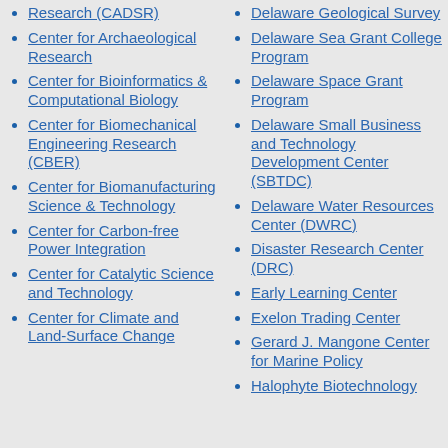Research (CADSR)
Center for Archaeological Research
Center for Bioinformatics & Computational Biology
Center for Biomechanical Engineering Research (CBER)
Center for Biomanufacturing Science & Technology
Center for Carbon-free Power Integration
Center for Catalytic Science and Technology
Center for Climate and Land-Surface Change
Delaware Geological Survey
Delaware Sea Grant College Program
Delaware Space Grant Program
Delaware Small Business and Technology Development Center (SBTDC)
Delaware Water Resources Center (DWRC)
Disaster Research Center (DRC)
Early Learning Center
Exelon Trading Center
Gerard J. Mangone Center for Marine Policy
Halophyte Biotechnology